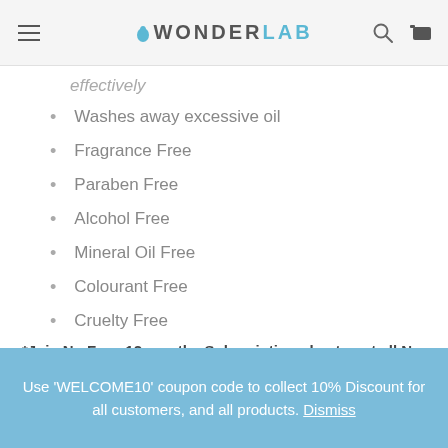WONDERLAB
effectively
Washes away excessive oil
Fragrance Free
Paraben Free
Alcohol Free
Mineral Oil Free
Colourant Free
Cruelty Free
SLS Free
*Join No Face 12 months Subscription plan to get all No Face products for only $999 per kit
Use 'WELCOME10' coupon code to collect 10% Discount for all customers, and all products. Dismiss